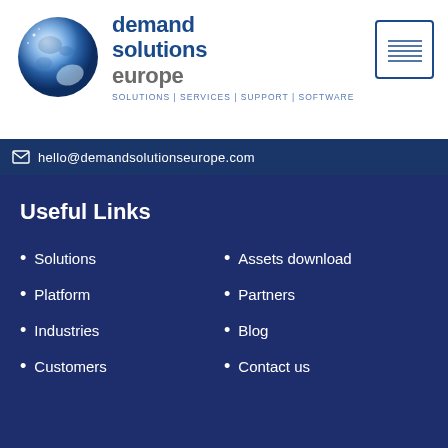[Figure (logo): Demand Solutions Europe logo with globe graphic and company name, tagline: SOLUTIONS | SERVICES | SUPPORT | SOFTWARE]
[Figure (other): Stamp/signature box with diagonal lines, blue border]
hello@demandsolutionseurope.com
Useful Links
Solutions
Assets download
Platform
Partners
Industries
Blog
Customers
Contact us